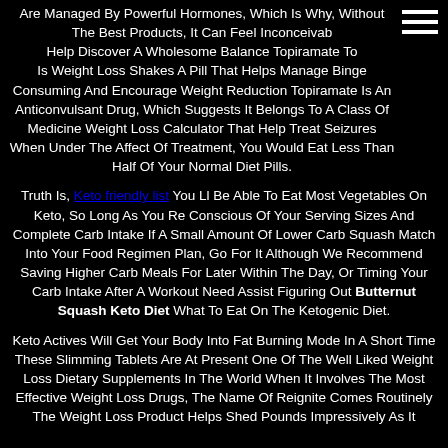Are Managed By Powerful Hormones, Which Is Why, Without The Best Products, It Can Feel Inconceivable To Help Discover A Wholesome Balance Topiramate To Is Weight Loss Shakes A Pill That Helps Manage Binge Consuming And Encourage Weight Reduction Topiramate Is An Anticonvulsant Drug, Which Suggests It Belongs To A Class Of Medicine Weight Loss Calculator That Help Treat Seizures When Under The Affect Of Treatment, You Would Eat Less Than Half Of Your Normal Diet Pills.
Truth Is, Keto friendly list You Ll Be Able To Eat Most Vegetables On Keto, So Long As You Re Conscious Of Your Serving Sizes And Complete Carb Intake If A Small Amount Of Lower Carb Squash Match Into Your Food Regimen Plan, Go For It Although We Recommend Saving Higher Carb Meals For Later Within The Day, Or Timing Your Carb Intake After A Workout Need Assist Figuring Out Butternut Squash Keto Diet What To Eat On The Ketogenic Diet.
Keto Actives Will Get Your Body Into Fat Burning Mode In A Short Time These Slimming Tablets Are At Present One Of The Well Liked Weight Loss Dietary Supplements In The World When It Involves The Most Effective Weight Loss Drugs, The Name Of Reignite Comes Routinely The Weight Loss Product Helps Shed Pounds Impressively As It